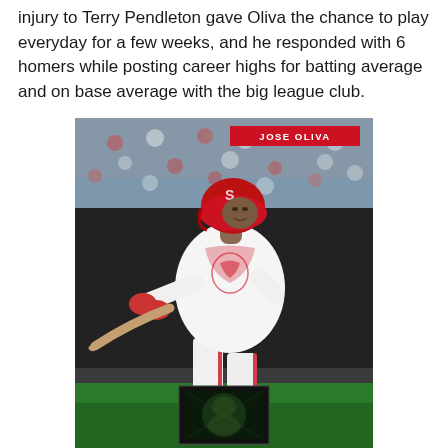injury to Terry Pendleton gave Oliva the chance to play everyday for a few weeks, and he responded with 6 homers while posting career highs for batting average and on base average with the big league club.
[Figure (photo): Baseball trading card for Jose Oliva of the St. Louis Cardinals, showing him in a batting stance wearing a white Cardinals uniform and red helmet. A holographic foil sticker appears at the bottom of the card. The player's name 'JOSE OLIVA' appears in white text on a red banner in the upper right of the card.]